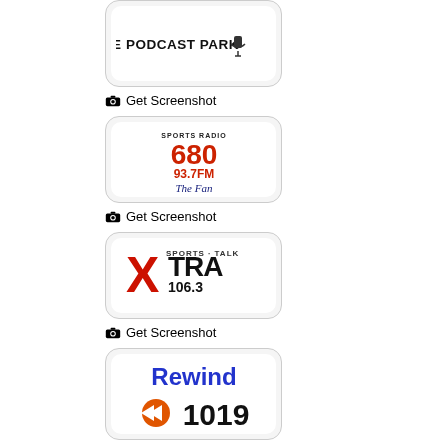[Figure (logo): The Podcast Park logo - black text on white background]
Get Screenshot
[Figure (logo): Sports Radio 680 93.7FM The Fan logo]
Get Screenshot
[Figure (logo): XTRA Sports Talk 106.3 logo - red and black]
Get Screenshot
[Figure (logo): Rewind 1019 logo - blue text with orange rewind button]